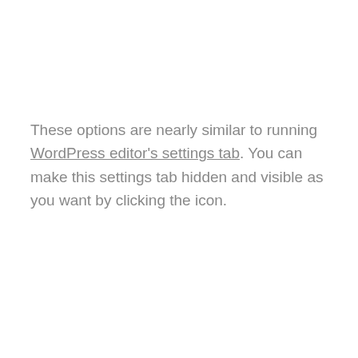These options are nearly similar to running WordPress editor's settings tab. You can make this settings tab hidden and visible as you want by clicking the icon.